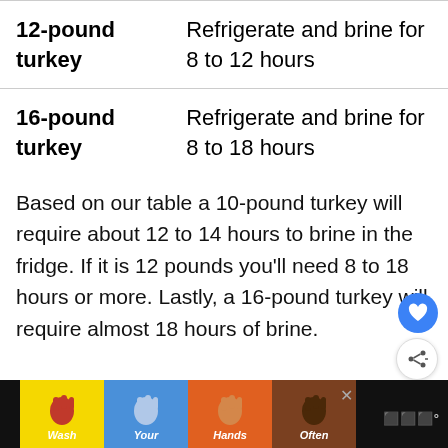| Turkey Size | Brining Time |
| --- | --- |
| 12-pound turkey | Refrigerate and brine for 8 to 12 hours |
| 16-pound turkey | Refrigerate and brine for 8 to 18 hours |
Based on our table a 10-pound turkey will require about 12 to 14 hours to brine in the fridge. If it is 12 pounds you'll need 8 to 18 hours or more. Lastly, a 16-pound turkey will require almost 18 hours of brine.
[Figure (illustration): Advertisement banner at bottom: 'Wash Your Hands Often' with hand-washing icons in yellow, blue, orange, and brown color segments]